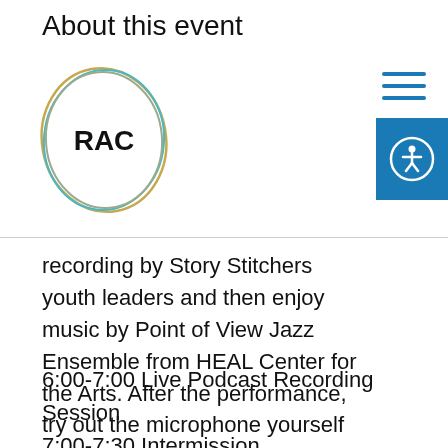About this event
[Figure (logo): RAC logo — stylized oval shape outline in gold/teal/grey with 'RAC' text inside]
recording by Story Stitchers youth leaders and then enjoy music by Point of View Jazz Ensemble from HEAL Center for the Arts. After the performance, try out the microphone yourself at our welcoming, all ages open mic or participate in BlueBeatz Rapid Fire Free Style Challenge.
6:00-7:00 Live Podcast Recording Session
7:00-7:30 Intermission
7:30-8:30 Performance by Point of View